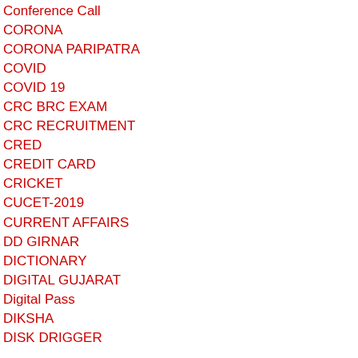Conference Call
CORONA
CORONA PARIPATRA
COVID
COVID 19
CRC BRC EXAM
CRC RECRUITMENT
CRED
CREDIT CARD
CRICKET
CUCET-2019
CURRENT AFFAIRS
DD GIRNAR
DICTIONARY
DIGITAL GUJARAT
Digital Pass
DIKSHA
DISK DRIGGER